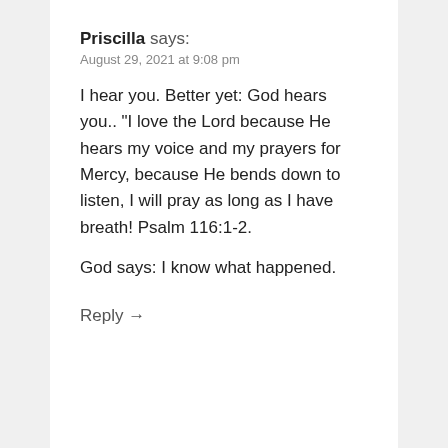Priscilla says:
August 29, 2021 at 9:08 pm
I hear you. Better yet: God hears you.. "I love the Lord because He hears my voice and my prayers for Mercy, because He bends down to listen, I will pray as long as I have breath! Psalm 116:1-2.
God says: I know what happened.
Reply →